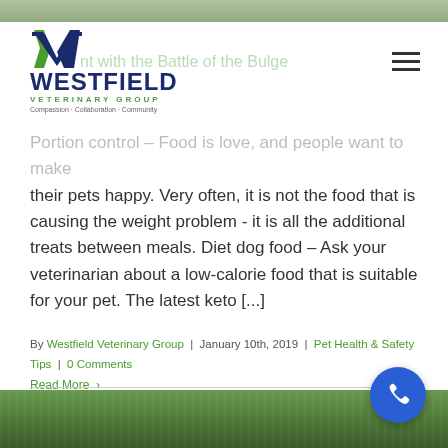[Figure (photo): Westfield Veterinary Group logo with green V chevron icon, dark navy bold WESTFIELD text, green VETERINARY GROUP text, tagline Compassion · Collaboration · Community]
Portion control – Food is love, and people want to make their pets happy. Very often, it is not the food that is causing the weight problem - it is all the additional treats between meals. Diet dog food – Ask your veterinarian about a low-calorie food that is suitable for your pet. The latest keto [...]
By Westfield Veterinary Group | January 10th, 2019 | Pet Health & Safety Tips | 0 Comments
Read More >
[Figure (photo): Green grass lawn photograph at bottom of page]